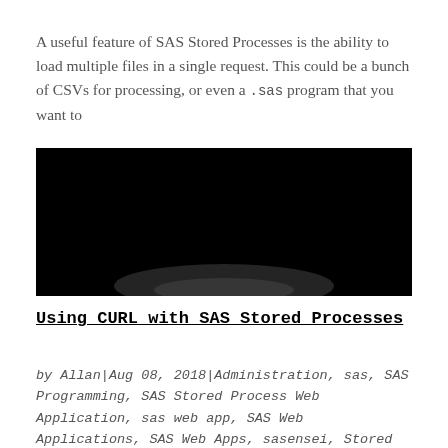A useful feature of SAS Stored Processes is the ability to load multiple files in a single request. This could be a bunch of CSVs for processing, or even a .sas program that you want to
[Figure (screenshot): Dark/black screenshot area, possibly a video or code editor screenshot with a faint light glow at the bottom center.]
Using CURL with SAS Stored Processes
by Allan | Aug 08, 2018 | Administration, sas, SAS Programming, SAS Stored Process Web Application, sas web app, SAS Web Applications, SAS Web Apps, sasensei, Stored Process Web Applications, Stored Processes,